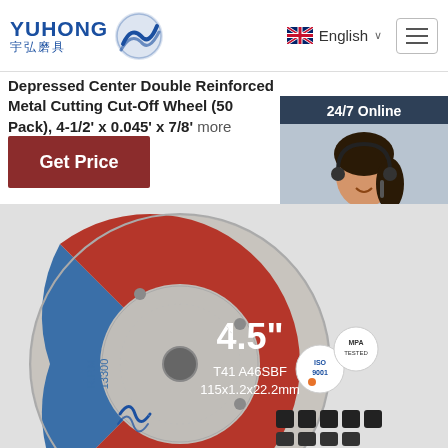YUHONG 宇弘磨具 — English
Depressed Center Double Reinforced Metal Cutting Cut-Off Wheel (50 Pack), 4-1/2' x 0.045' x 7/8' more
Get Price
[Figure (photo): Customer service representative with headset, 24/7 Online chat panel with QUOTATION button]
[Figure (photo): Cutting disc 4.5 inch, T41 A46SBF 115x1.2x22.2mm, R.P.M 13300, ISO 9001, MPA Tested certifications, Yuhong logo]